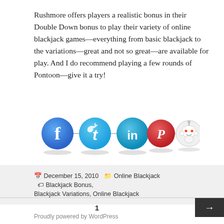Rushmore offers players a realistic bonus in their Double Down bonus to play their variety of online blackjack games—everything from basic blackjack to the variations—great and not so great—are available for play. And I do recommend playing a few rounds of Pontoon—give it a try!
[Figure (illustration): Social media sharing icons in a row connected by a horizontal line: Facebook (blue circle with 'f'), Twitter (blue circle with bird logo), LinkedIn (blue circle with 'in'), Pinterest (red circle with 'P' pin icon), Reddit (gray/white circle with Reddit alien mascot)]
December 15, 2010   Online Blackjack   Blackjack Bonus, Blackjack Variations, Online Blackjack
Proudly powered by WordPress